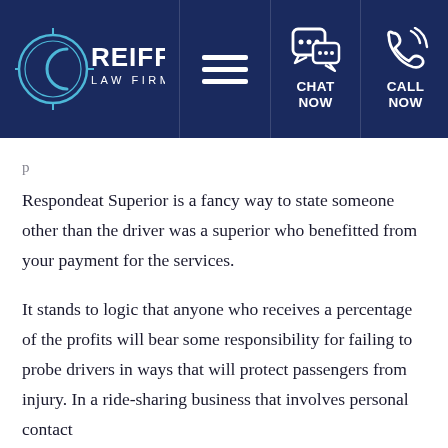Reiff Law Firm — CHAT NOW | CALL NOW
p [partial/cut-off text above]
Respondeat Superior is a fancy way to state someone other than the driver was a superior who benefitted from your payment for the services.
It stands to logic that anyone who receives a percentage of the profits will bear some responsibility for failing to probe drivers in ways that will protect passengers from injury. In a ride-sharing business that involves personal contact